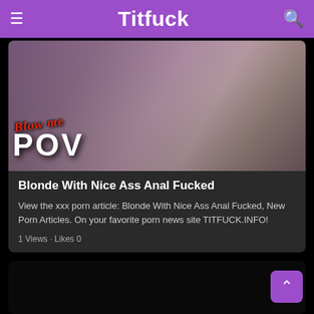Titfuck
[Figure (photo): Thumbnail image with 'Blow me POV' text overlay, showing a person with pink hair]
Blonde With Nice Ass Anal Fucked
View the xxx porn article: Blonde With Nice Ass Anal Fucked, New Porn Articles. On your favorite porn news site TITFUCK.INFO!
1 Views · Likes 0
[Figure (photo): Dark/black thumbnail image for second article]